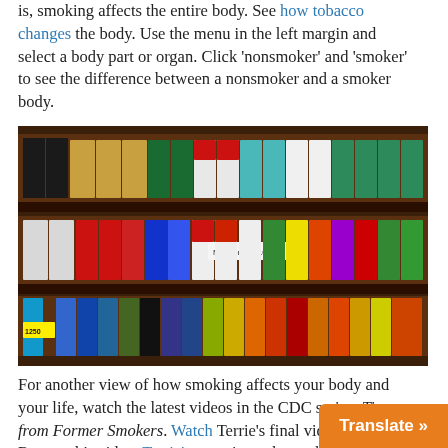is, smoking affects the entire body. See how tobacco changes the body. Use the menu in the left margin and select a body part or organ. Click 'nonsmoker' and 'smoker' to see the difference between a nonsmoker and a smoker body.
[Figure (photo): Photo of cigarette packs displayed on store shelves. Visible brands include Marlboro ($13.00) and others, arranged in multiple rows with price tags.]
For another view of how smoking affects your body and your life, watch the latest videos in the CDC series, Tips from Former Smokers. Watch Terrie's final video and Roosevelt's video. Terrie's story is, perhaps, the most famous one in the series. Watch on the bottom of her page first and w...